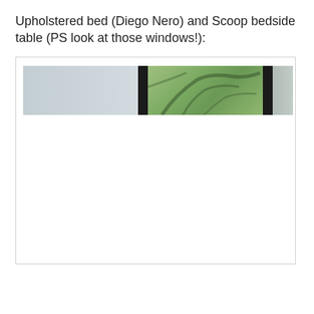Upholstered bed (Diego Nero) and Scoop bedside table (PS look at those windows!):
[Figure (photo): Partial photo strip showing windows with trees visible through them. The image appears to be a cropped horizontal strip of a bedroom or interior scene, showing window frames with dark mullions against a bright exterior view of trees and sky. On the right side of the strip are lighter-colored panels (grey/lavender). Most of the photo container below the strip is white/blank.]